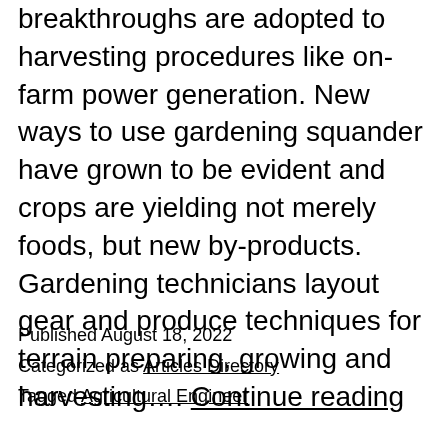breakthroughs are adopted to harvesting procedures like on-farm power generation. New ways to use gardening squander have grown to be evident and crops are yielding not merely foods, but new by-products. Gardening technicians layout gear and produce techniques for terrain preparing, growing and harvesting…. Continue reading
Published August 18, 2022
Categorized as Articles Directory
Tagged Agricultural Engineer